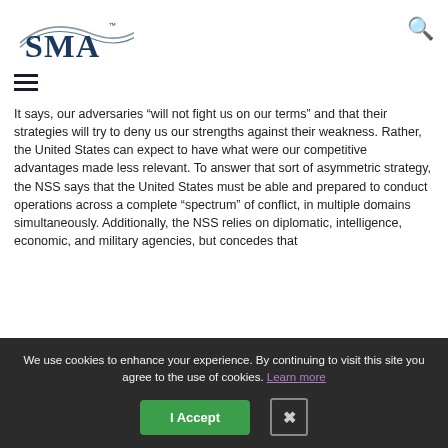SMA logo and search icon
It says, our adversaries “will not fight us on our terms” and that their strategies will try to deny us our strengths against their weakness. Rather, the United States can expect to have what were our competitive advantages made less relevant. To answer that sort of asymmetric strategy, the NSS says that the United States must be able and prepared to conduct operations across a complete “spectrum” of conflict, in multiple domains simultaneously. Additionally, the NSS relies on diplomatic, intelligence, economic, and military agencies, but concedes that
We use cookies to enhance your experience. By continuing to visit this site you agree to the use of cookies. Learn more
I Accept